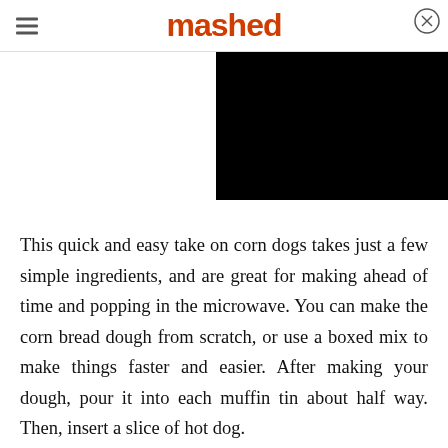mashed
[Figure (screenshot): Black video player rectangle in the upper right area of the page]
This quick and easy take on corn dogs takes just a few simple ingredients, and are great for making ahead of time and popping in the microwave. You can make the corn bread dough from scratch, or use a boxed mix to make things faster and easier. After making your dough, pour it into each muffin tin about half way. Then, insert a slice of hot dog.